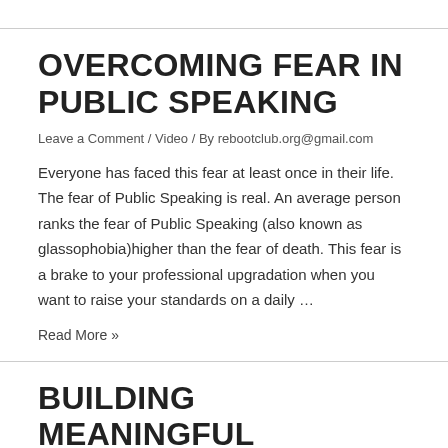OVERCOMING FEAR IN PUBLIC SPEAKING
Leave a Comment / Video / By rebootclub.org@gmail.com
Everyone has faced this fear at least once in their life. The fear of Public Speaking is real. An average person ranks the fear of Public Speaking (also known as glassophobia)higher than the fear of death. This fear is a brake to your professional upgradation when you want to raise your standards on a daily …
Read More »
BUILDING MEANINGFUL CONNECTIONS